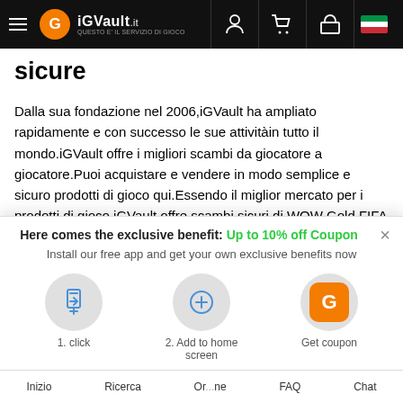iGVault.it — QUESTO E' IL SERVIZIO DI GIOCO
sicure
Dalla sua fondazione nel 2006,iGVault ha ampliato rapidamente e con successo le sue attivitàin tutto il mondo.iGVault offre i migliori scambi da giocatore a giocatore.Puoi acquistare e vendere in modo semplice e sicuro prodotti di gioco qui.Essendo il miglior mercato per i prodotti di gioco,iGVault offre scambi sicuri di WOW Gold,FIFA Coins,Dofus Kamas,account League of Leagues e account COC.
Mentre controlli il sito Web iGVault,puoi trovare piùdi 400 prodotti nel nostro elenco di servizi.Negli ultimi decenni sviluppiamo il nostro
Here comes the exclusive benefit: Up to 10% off Coupon
Install our free app and get your own exclusive benefits now
1. click
2. Add to home screen
Get coupon
Inizio   Ricerca   Or..ne   FAQ   Chat